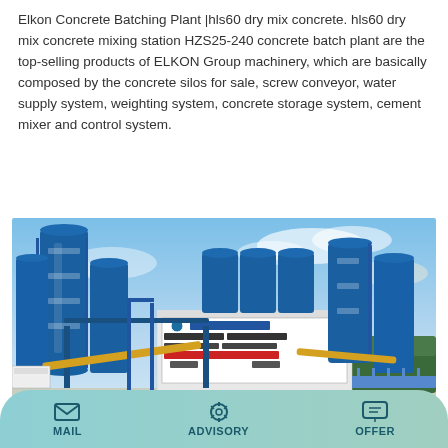Elkon Concrete Batching Plant |hls60 dry mix concrete. hls60 dry mix concrete mixing station HZS25-240 concrete batch plant are the top-selling products of ELKON Group machinery, which are basically composed by the concrete silos for sale, screw conveyor, water supply system, weighting system, concrete storage system, cement mixer and control system.
[Figure (other): Button labeled 'Learn More' with cyan/teal background]
[Figure (photo): Photograph of a large concrete batching plant with multiple tall blue cylindrical silos, a white building with Chinese text signs reading '中铁上海工程局集团' and '1号拌合站 生产区', yellow conveyor belts, blue steel structures, under a partly cloudy blue sky]
MAIL   ADVISORY   OFFER